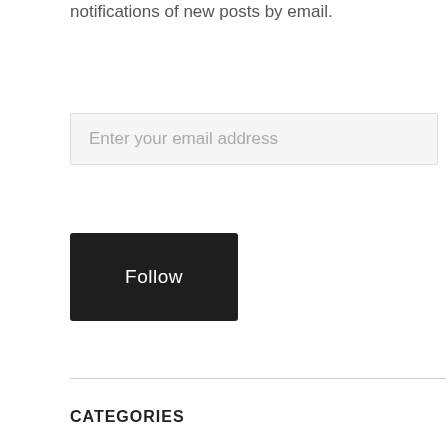notifications of new posts by email.
Enter your email address
Follow
CATEGORIES
Book Reviews
Healing Messages
Loving Feminism
Messages From My NDE